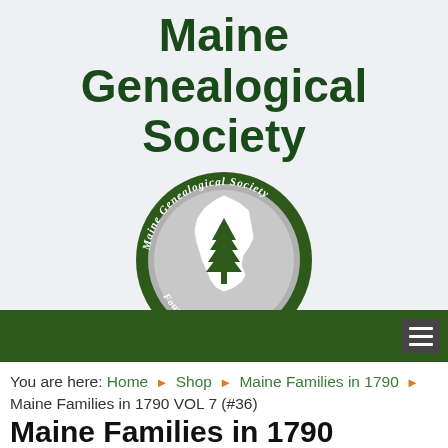Maine Genealogical Society
[Figure (logo): Maine Genealogical Society circular seal logo: dark green border ring with text 'Maine Genealogical Society' arcing around top and 'Founded 1976' at bottom, gray circle interior with white outline of the state of Maine featuring a green pine tree]
Navigation bar with hamburger menu icon
You are here: Home › Shop › Maine Families in 1790 › Maine Families in 1790 VOL 7 (#36)
Maine Families in 1790